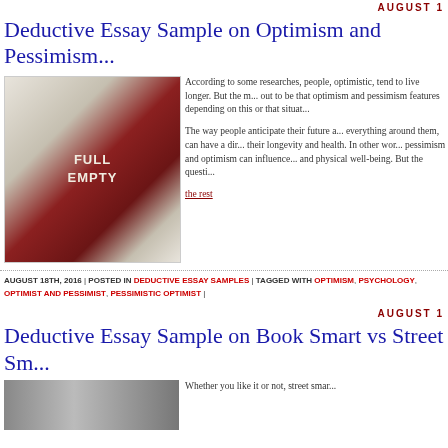AUGUST 1
Deductive Essay Sample on Optimism and Pessimism
[Figure (photo): A wine glass half-filled with red wine, labeled FULL on top and EMPTY on the bottom, with smoky wisps around it, held by a hand]
According to some researches, people, optimistic, tend to live longer. But the results out to be that optimism and pessimism features depending on this or that situation.
The way people anticipate their future and everything around them, can have a direct on their longevity and health. In other words, pessimism and optimism can influence and physical well-being. But the question...
the rest
AUGUST 18TH, 2016 | POSTED IN DEDUCTIVE ESSAY SAMPLES | TAGGED WITH OPTIMISM, PSYCHOLOGY, OPTIMIST AND PESSIMIST, PESSIMISTIC OPTIMIST |
AUGUST 1
Deductive Essay Sample on Book Smart vs Street Sm...
[Figure (photo): A grayscale/textured background image]
Whether you like it or not, street smar...